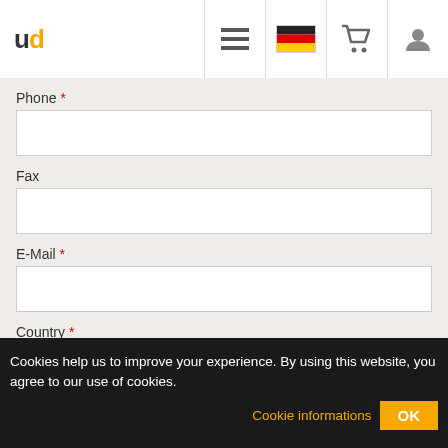ud — website header with logo, menu, German flag, cart, and user icons
Phone *
Fax
E-Mail *
Country *
Please select
Your message
Cookies help us to improve your experience. By using this website, you agree to our use of cookies.